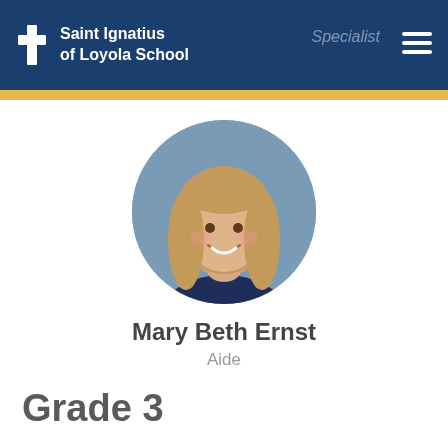Saint Ignatius of Loyola School
[Figure (photo): Circular profile photo of Mary Beth Ernst, a woman with long blonde hair, smiling, wearing a navy top, blue background]
Mary Beth Ernst
Aide
Grade 3